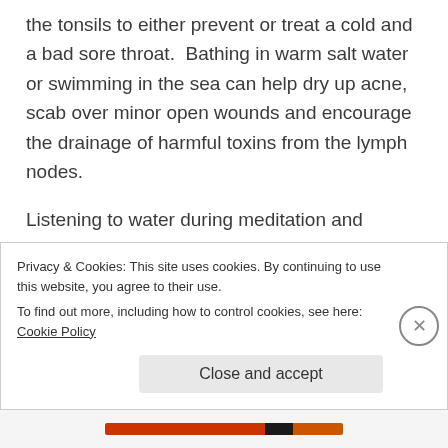the tonsils to either prevent or treat a cold and a bad sore throat.  Bathing in warm salt water or swimming in the sea can help dry up acne, scab over minor open wounds and encourage the drainage of harmful toxins from the lymph nodes.
Listening to water during meditation and visualizing water are two excellent ways to help reduce stress after a long, difficult day.  The body, when held in a constant state of tension for long periods of time
Privacy & Cookies: This site uses cookies. By continuing to use this website, you agree to their use.
To find out more, including how to control cookies, see here: Cookie Policy